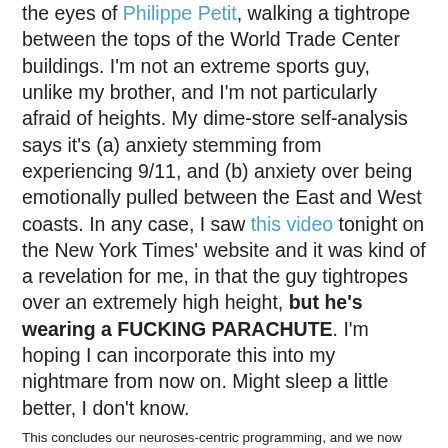the eyes of Philippe Petit, walking a tightrope between the tops of the World Trade Center buildings. I'm not an extreme sports guy, unlike my brother, and I'm not particularly afraid of heights. My dime-store self-analysis says it's (a) anxiety stemming from experiencing 9/11, and (b) anxiety over being emotionally pulled between the East and West coasts. In any case, I saw this video tonight on the New York Times' website and it was kind of a revelation for me, in that the guy tightropes over an extremely high height, but he's wearing a FUCKING PARACHUTE. I'm hoping I can incorporate this into my nightmare from now on. Might sleep a little better, I don't know.
This concludes our neuroses-centric programming, and we now return you to pretty records and gritty pictures, and vice-versa, etc.
Strath at 19:23   No comments:
Share
Sweden: Heaven and Hell